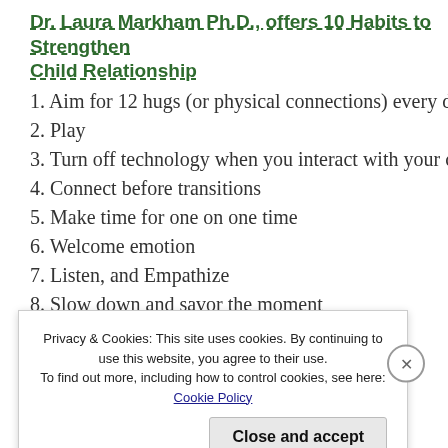Dr. Laura Markham Ph.D., offers 10 Habits to Strengthen Child Relationship
1. Aim for 12 hugs (or physical connections) every day
2. Play
3. Turn off technology when you interact with your child
4. Connect before transitions
5. Make time for one on one time
6. Welcome emotion
7. Listen, and Empathize
8. Slow down and savor the moment
9. Bedtime snuggle and chat
10. Show up
Privacy & Cookies: This site uses cookies. By continuing to use this website, you agree to their use.
To find out more, including how to control cookies, see here: Cookie Policy